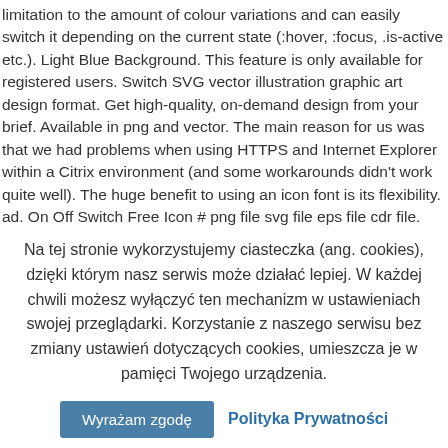limitation to the amount of colour variations and can easily switch it depending on the current state (:hover, :focus, .is-active etc.). Light Blue Background. This feature is only available for registered users. Switch SVG vector illustration graphic art design format. Get high-quality, on-demand design from your brief. Available in png and vector. The main reason for us was that we had problems when using HTTPS and Internet Explorer within a Citrix environment (and some workarounds didn't work quite well). The huge benefit to using an icon font is its flexibility. ad. On Off Switch Free Icon # png file svg file eps file cdr file. 66840. For example, let's take a look at the WIFI signal icon. If you aren't convinced head over to CSS Tricks to get a nice comparison list. Author: ionchan . Advertisements Network switch icon. What are you waiting for go ahead and Now we're going
Na tej stronie wykorzystujemy ciasteczka (ang. cookies), dzięki którym nasz serwis może działać lepiej. W każdej chwili możesz wyłączyć ten mechanizm w ustawieniach swojej przeglądarki. Korzystanie z naszego serwisu bez zmiany ustawień dotyczących cookies, umieszcza je w pamięci Twojego urządzenia.